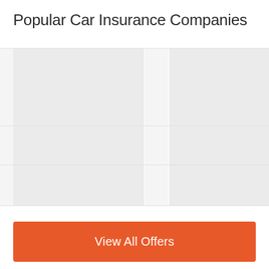Popular Car Insurance Companies
[Figure (other): A partially loaded or placeholder grid/table area with gray column blocks and white dividers, representing a loading state for car insurance company listings.]
View All Offers